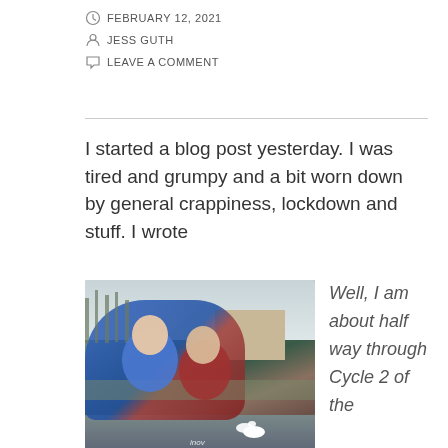FEBRUARY 12, 2021
JESS GUTH
LEAVE A COMMENT
I started a blog post yesterday. I was tired and grumpy and a bit worn down by general crappiness, lockdown and stuff. I wrote
[Figure (photo): Two women taking a selfie outdoors near a river or pond with swans, bare trees, and houses visible in the background. One woman wears a blue jacket, the other a red/maroon jacket.]
Well, I am about half way through Cycle 2 of the